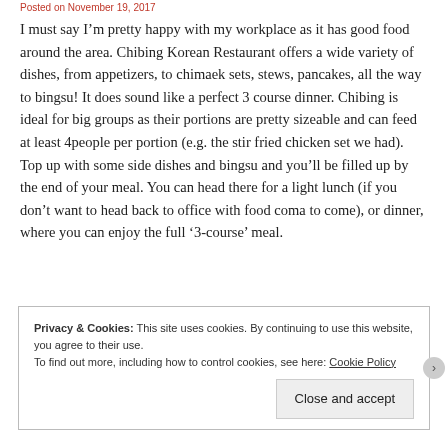Posted on November 19, 2017
I must say I’m pretty happy with my workplace as it has good food around the area. Chibing Korean Restaurant offers a wide variety of dishes, from appetizers, to chimaek sets, stews, pancakes, all the way to bingsu! It does sound like a perfect 3 course dinner. Chibing is ideal for big groups as their portions are pretty sizeable and can feed at least 4people per portion (e.g. the stir fried chicken set we had). Top up with some side dishes and bingsu and you’ll be filled up by the end of your meal. You can head there for a light lunch (if you don’t want to head back to office with food coma to come), or dinner, where you can enjoy the full ‘3-course’ meal.
Privacy & Cookies: This site uses cookies. By continuing to use this website, you agree to their use. To find out more, including how to control cookies, see here: Cookie Policy
Close and accept